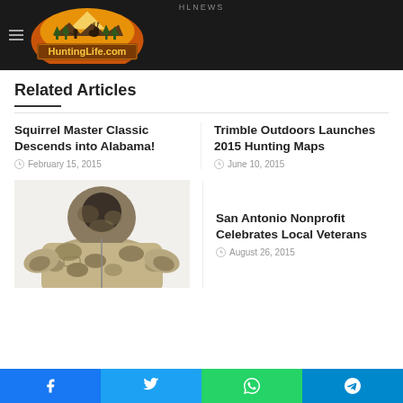HLNews / HuntingLife.com
Related Articles
Squirrel Master Classic Descends into Alabama!
February 15, 2015
Trimble Outdoors Launches 2015 Hunting Maps
June 10, 2015
[Figure (photo): Camouflage hunting jacket/puffer coat displayed against white background]
San Antonio Nonprofit Celebrates Local Veterans
August 26, 2015
Facebook | Twitter | WhatsApp | Telegram